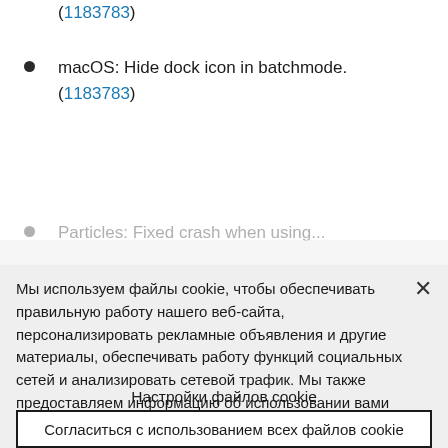(1183783)
macOS: Hide dock icon in batchmode. (1183783)
Particles: Fixed crash when using...
Мы используем файлы cookie, чтобы обеспечивать правильную работу нашего веб-сайта, персонализировать рекламные объявления и другие материалы, обеспечивать работу функций социальных сетей и анализировать сетевой трафик. Мы также предоставляем информацию об использовании вами нашего веб-сайта своим партнерам по социальным сетям, рекламе и аналитическим системам.
Настройки файлов cookie
Согласиться с использованием всех файлов cookie